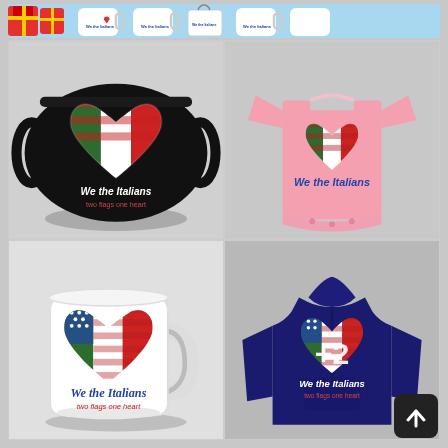[Figure (photo): Banner showing We the Italians branded merchandise including mugs and bags with Italian-American flag heart logo]
[Figure (photo): Black face mask with We the Italians Italian-American flag heart logo]
[Figure (photo): Pink baby onesie with We the Italians Italian-American flag heart logo]
[Figure (photo): White coffee mug with We the Italians two flags one heart Italian-American logo]
[Figure (photo): Navy blue hoodie with We the Italians Italian-American flag heart logo and +2 overlay text]